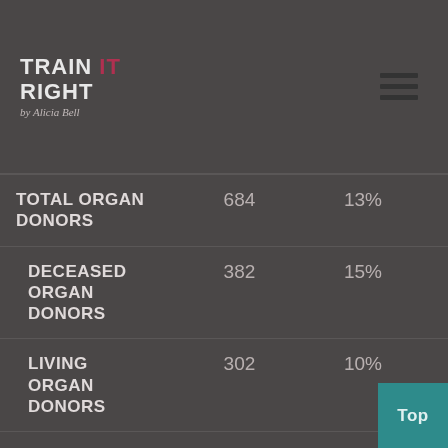[Figure (logo): Train IT Right by Alicia Bell logo with hamburger menu icon]
| Category | Count | Percentage |
| --- | --- | --- |
| TOTAL ORGAN DONORS | 684 | 13% |
| DECEASED ORGAN DONORS | 382 | 15% |
| LIVING ORGAN DONORS | 302 | 10% |
| MULTI-TISSUE DONORS | 281 | 37% |
| SKIN | 98 | 81% |